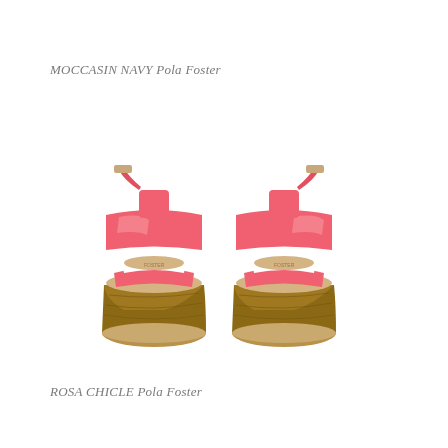MOCCASIN NAVY Pola Foster
[Figure (photo): Two pink patent leather wedge sandals with cork/wood platform heels, photographed from behind on a white background. The sandals feature wide ankle straps with buckles and a front toe strap, with beige/tan insoles visible.]
ROSA CHICLE Pola Foster